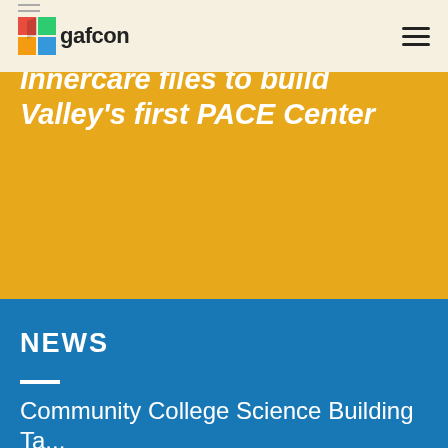gafcon
Innercare files to build Valley's first PACE Center
NEWS
Community College Science Building Ta... Full transcription cut off